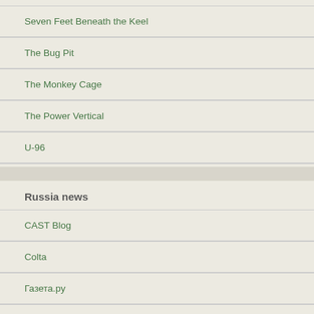Seven Feet Beneath the Keel
The Bug Pit
The Monkey Cage
The Power Vertical
U-96
Window on Eurasia
Russia news
CAST Blog
Colta
Газета.ру
Ежедневный журнал
Коммерсантъ
Независимая газета